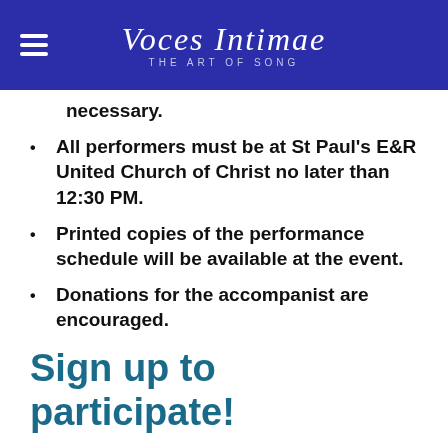Voces Intimae — THE ART OF SONG
necessary.
All performers must be at St Paul's E&R United Church of Christ no later than 12:30 PM.
Printed copies of the performance schedule will be available at the event.
Donations for the accompanist are encouraged.
Sign up to participate!